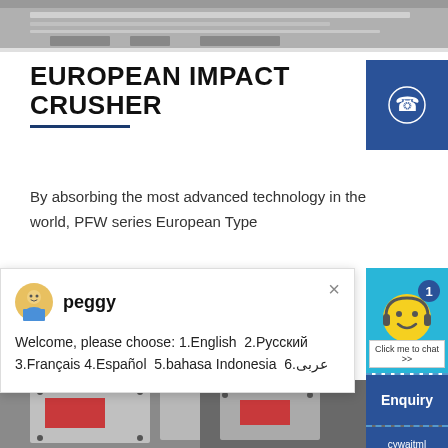[Figure (photo): Top strip showing industrial machinery/metal surface in grayscale]
EUROPEAN IMPACT CRUSHER
[Figure (other): Blue square with white telephone/phone icon — contact widget]
By absorbing the most advanced technology in the world, PFW series European Type
[Figure (screenshot): Chat popup with avatar of support agent named 'peggy', close button (x), and message: Welcome, please choose: 1.English 2.Русский 3.Français 4.Español 5.bahasa Indonesia 6.عربى]
[Figure (photo): Industrial impact crusher machines in white and red in a factory setting]
[Figure (other): Teal/blue sidebar with smiley face chat icon, badge showing '1', and 'Click me to chat >>' button]
Enquiry
cywaitml@gmail.com